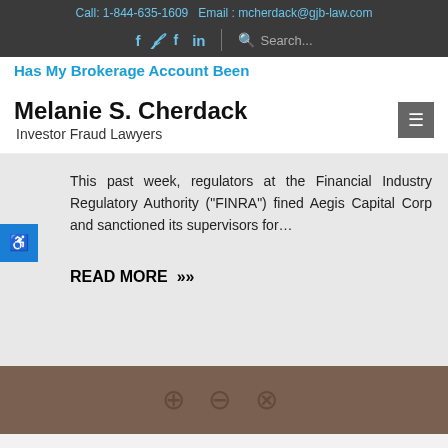Call: 1-844-635-1609  Email : mcherdack@gjb-law.com
f  twitter  in  |  Search...
Melanie S. Cherdack
Investor Fraud Lawyers
Has My Brokerage Account Been
This past week, regulators at the Financial Industry Regulatory Authority (“FINRA”) fined Aegis Capital Corp and sanctioned its supervisors for…
READ MORE »
Nov 8, 2021 - By Admin